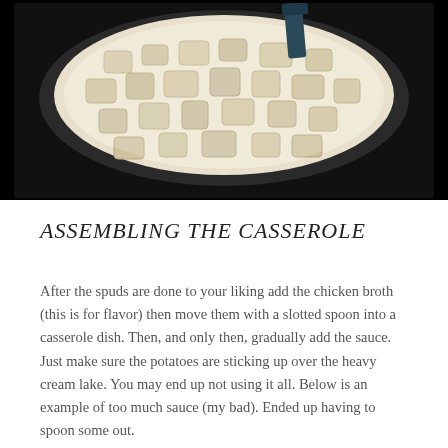[Figure (photo): Overhead view of a large pot or casserole dish containing cubed potatoes in a creamy white sauce or broth, with a dark spatula or utensil visible at the top. The pot sits on a dark stovetop surface.]
ASSEMBLING THE CASSEROLE
After the spuds are done to your liking add the chicken broth (this is for flavor) then move them with a slotted spoon into a casserole dish. Then, and only then, gradually add the sauce. Just make sure the potatoes are sticking up over the heavy cream lake. You may end up not using it all. Below is an example of too much sauce (my bad). Ended up having to spoon some out.